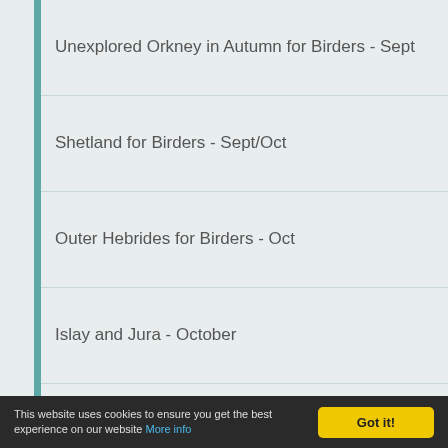Unexplored Orkney in Autumn for Birders - Sept
Shetland for Birders - Sept/Oct
Outer Hebrides for Birders - Oct
Islay and Jura - October
NEW! Birding the East Coast in Autumn - Nov
Solway Firth - November
Up Helly Aa - Shetland in Winter
NEW! Shetland Wildlife in Summer
New! Ultimate Skye and Mull Explorer
NEW! North-west Scottish Explorer
This website uses cookies to ensure you get the best experience on our website More info  Got it!